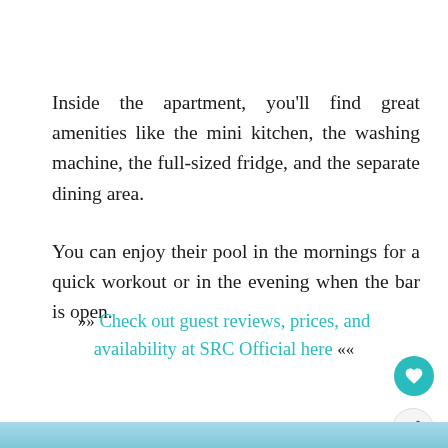Inside the apartment, you'll find great amenities like the mini kitchen, the washing machine, the full-sized fridge, and the separate dining area.
You can enjoy their pool in the mornings for a quick workout or in the evening when the bar is open.
»» Check out guest reviews, prices, and availability at SRC Official here ««